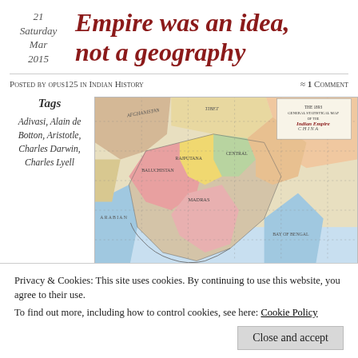21 Saturday Mar 2015
Empire was an idea, not a geography
Posted by opus125 in Indian History ≈ 1 Comment
Tags
Adivasi, Alain de Botton, Aristotle, Charles Darwin, Charles Lyell
[Figure (map): 1893 General Statistical Map of the Indian Empire showing the subcontinent with surrounding regions including Afghanistan, Tibet, China, and Arabia. Regions are color-coded in various pastel shades.]
Privacy & Cookies: This site uses cookies. By continuing to use this website, you agree to their use.
To find out more, including how to control cookies, see here: Cookie Policy
Close and accept